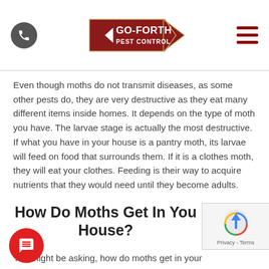Go-Forth Pest Control
Even though moths do not transmit diseases, as some other pests do, they are very destructive as they eat many different items inside homes. It depends on the type of moth you have. The larvae stage is actually the most destructive. If what you have in your house is a pantry moth, its larvae will feed on food that surrounds them. If it is a clothes moth, they will eat your clothes. Feeding is their way to acquire nutrients that they would need until they become adults.
How Do Moths Get In Your House?
You might be asking, how do moths get in your